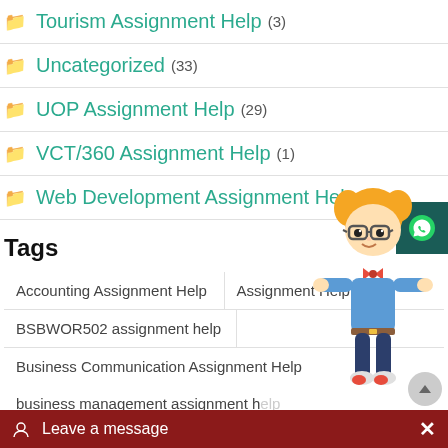Tourism Assignment Help (3)
Uncategorized (33)
UOP Assignment Help (29)
VCT/360 Assignment Help (1)
Web Development Assignment Help (1)
Tags
Accounting Assignment Help
Assignment Help
BSBWOR502 assignment help
Business Communication Assignment Help
business management assignment help
[Figure (illustration): Cartoon character of a student/nerd with glasses and orange hair, wearing a blue shirt and jeans, pointing to the side]
Leave a message